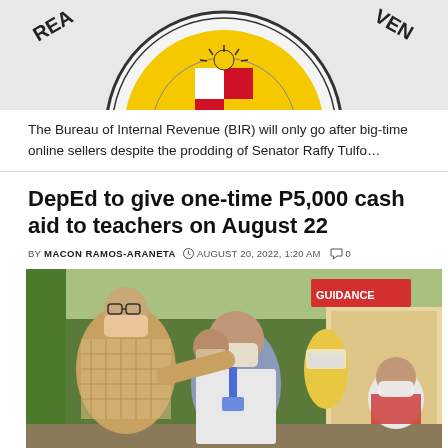[Figure (logo): Bureau of Internal Revenue (BIR) seal/logo partially visible, circular emblem with Philippine coat of arms on yellow background]
The Bureau of Internal Revenue (BIR) will only go after big-time online sellers despite the prodding of Senator Raffy Tulfo…
DepEd to give one-time P5,000 cash aid to teachers on August 22
BY MACON RAMOS-ARANETA  AUGUST 20, 2022, 1:20 AM  0
[Figure (photo): Photo of people wearing face masks inside a school building with a Guidance office sign visible. A woman in a checkered top appears to be assisting another person wearing a blue lanyard. Others are seated in the background.]